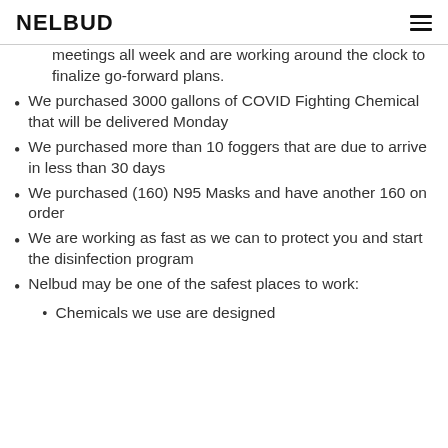NELBUD
meetings all week and are working around the clock to finalize go-forward plans.
We purchased 3000 gallons of COVID Fighting Chemical that will be delivered Monday
We purchased more than 10 foggers that are due to arrive in less than 30 days
We purchased (160) N95 Masks and have another 160 on order
We are working as fast as we can to protect you and start the disinfection program
Nelbud may be one of the safest places to work:
Chemicals we use are designed